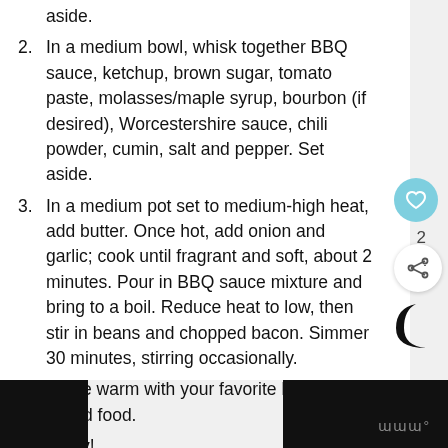aside.
2. In a medium bowl, whisk together BBQ sauce, ketchup, brown sugar, tomato paste, molasses/maple syrup, bourbon (if desired), Worcestershire sauce, chili powder, cumin, salt and pepper. Set aside.
3. In a medium pot set to medium-high heat, add butter. Once hot, add onion and garlic; cook until fragrant and soft, about 2 minutes. Pour in BBQ sauce mixture and bring to a boil. Reduce heat to low, then stir in beans and chopped bacon. Simmer 30 minutes, stirring occasionally.
4. Serve warm with your favorite BBQ or grilled food.
5. Enjoy!